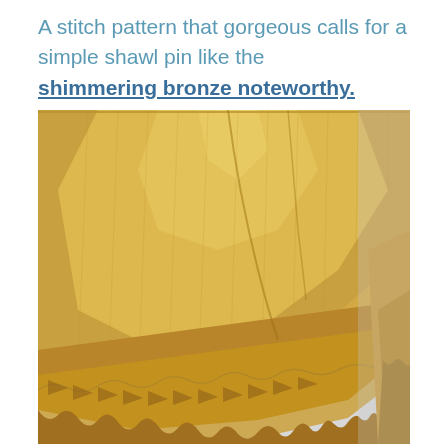A stitch pattern that gorgeous calls for a simple shawl pin like the shimmering bronze noteworthy.
[Figure (photo): A golden/yellow lace shawl draped against a light gray wall, showing intricate knitted lace edging along the bottom and right edges of the triangular shawl.]